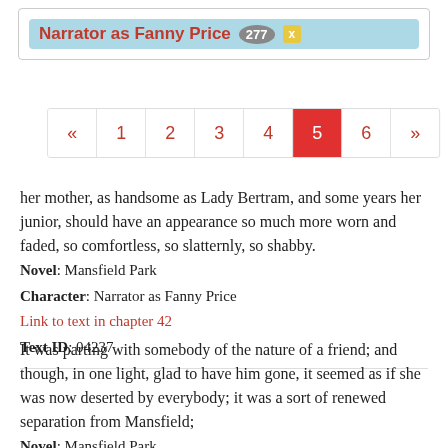[Figure (other): Tag bar showing 'Narrator as Fanny Price' with count 277 and an x button, on a light blue background]
[Figure (other): Pagination bar with links: «, 1, 2, 3, 4, 5 (active/red), 6, »]
her mother, as handsome as Lady Bertram, and some years her junior, should have an appearance so much more worn and faded, so comfortless, so slatternly, so shabby.
Novel: Mansfield Park
Character: Narrator as Fanny Price
Link to text in chapter 42
Text ID: 04237
It was parting with somebody of the nature of a friend; and though, in one light, glad to have him gone, it seemed as if she was now deserted by everybody; it was a sort of renewed separation from Mansfield;
Novel: Mansfield Park